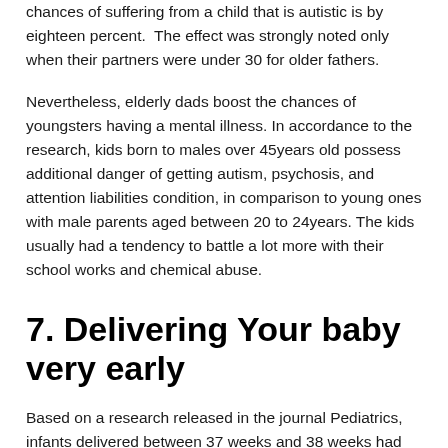chances of suffering from a child that is autistic is by eighteen percent. The effect was strongly noted only when their partners were under 30 for older fathers.
Nevertheless, elderly dads boost the chances of youngsters having a mental illness. In accordance to the research, kids born to males over 45years old possess additional danger of getting autism, psychosis, and attention liabilities condition, in comparison to young ones with male parents aged between 20 to 24years. The kids usually had a tendency to battle a lot more with their school works and chemical abuse.
7. Delivering Your baby very early
Based on a research released in the journal Pediatrics, infants delivered between 37 weeks and 38 weeks had somewhat low reading results in comparison to youngsters delivered between 39,